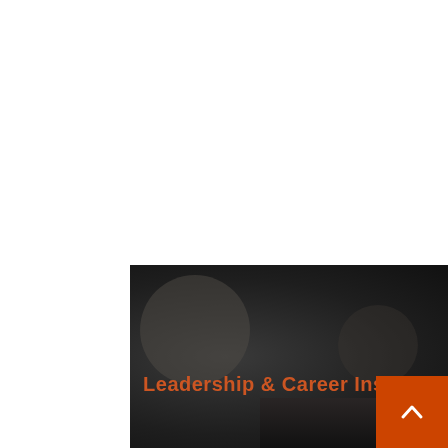[Figure (photo): Dark moody background image with abstract blurred shapes and bokeh effect, overlaid with text 'Leadership & Career Insights' in orange/red color, with a bottom strip showing partial imagery]
Leadership & Career Insights